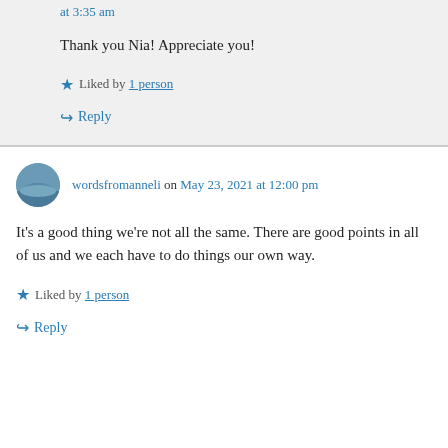at 3:35 am
Thank you Nia! Appreciate you!
Liked by 1 person
Reply
wordsfromanneli on May 23, 2021 at 12:00 pm
It's a good thing we're not all the same. There are good points in all of us and we each have to do things our own way.
Liked by 1 person
Reply